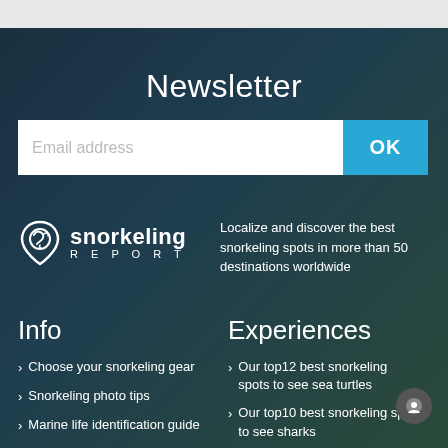Newsletter
[Figure (other): Email address input field with OK button]
[Figure (logo): Snorkeling Report logo with fish/snorkel icon and brand name]
Localize and discover the best snorkeling spots in more than 50 destinations worldwide
Info
Experiences
Choose your snorkeling gear
Snorkeling photo tips
Marine life identification guide
Snorkeling safety tips
Our top12 best snorkeling spots to see sea turtles
Our top10 best snorkeling spots to see sharks